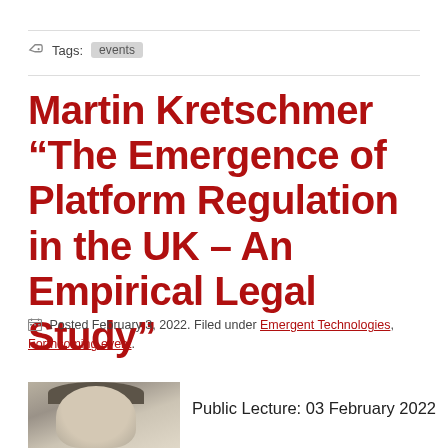Tags: events
Martin Kretschmer “The Emergence of Platform Regulation in the UK – An Empirical Legal Study”
Posted February 3, 2022. Filed under Emergent Technologies, Forthcoming event.
[Figure (photo): Headshot photo of Martin Kretschmer]
Public Lecture: 03 February 2022